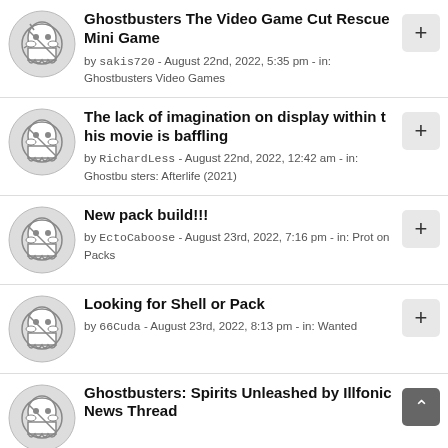Ghostbusters The Video Game Cut Rescue Mini Game by sakis720 - August 22nd, 2022, 5:35 pm - in: Ghostbusters Video Games
The lack of imagination on display within this movie is baffling by RichardLess - August 22nd, 2022, 12:42 am - in: Ghostbusters: Afterlife (2021)
New pack build!!! by EctoCaboose - August 23rd, 2022, 7:16 pm - in: Proton Packs
Looking for Shell or Pack by 66Cuda - August 23rd, 2022, 8:13 pm - in: Wanted
Ghostbusters: Spirits Unleashed by Illfonic News Thread